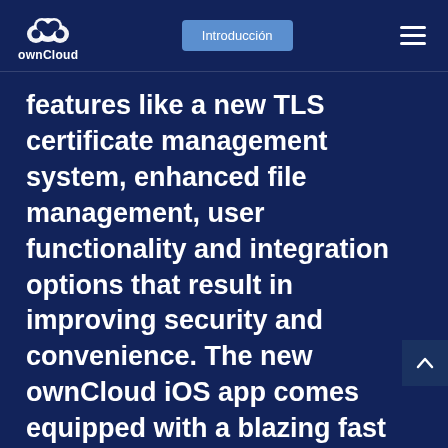ownCloud — Introducción
features like a new TLS certificate management system, enhanced file management, user functionality and integration options that result in improving security and convenience. The new ownCloud iOS app comes equipped with a blazing fast performance, high stability and reliability based on an overhauled app architecture. The